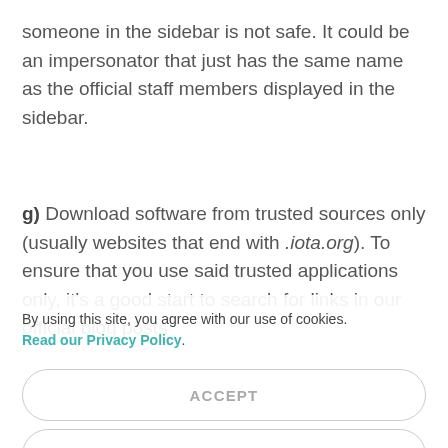someone in the sidebar is not safe. It could be an impersonator that just has the same name as the official staff members displayed in the sidebar.
g) Download software from trusted sources only (usually websites that end with .iota.org). To ensure that you use said trusted applications only, it's a good start to search for links in our official blog posts
By using this site, you agree with our use of cookies. Read our Privacy Policy.
ACCEPT
REJECT
CUSTOMIZE